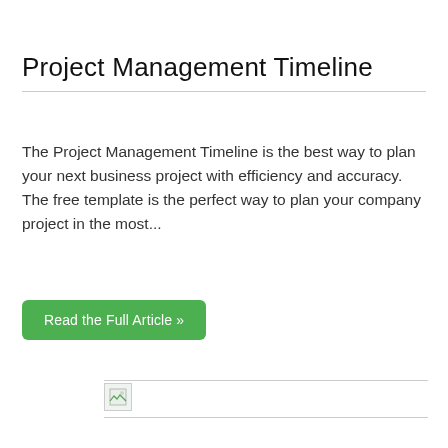Project Management Timeline
The Project Management Timeline is the best way to plan your next business project with efficiency and accuracy. The free template is the perfect way to plan your company project in the most...
Read the Full Article »
[Figure (other): Broken image placeholder with horizontal rule above and below]